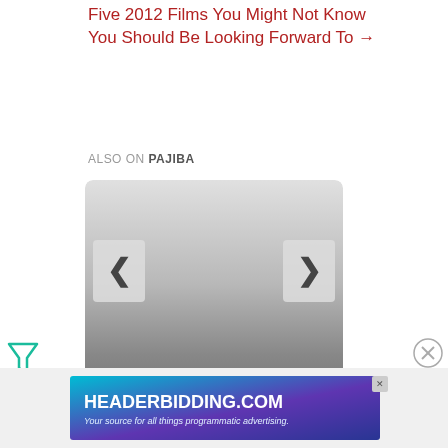Five 2012 Films You Might Not Know You Should Be Looking Forward To →
ALSO ON PAJIBA
[Figure (screenshot): Carousel widget with left and right chevron navigation arrows on a gray gradient background, showing '7 comments' text at the bottom]
[Figure (logo): Green filter/funnel icon (Feather icon)]
[Figure (infographic): Close/dismiss circle button (X)]
[Figure (screenshot): Advertisement banner for HEADERBIDDING.COM - 'Your source for all things programmatic advertising.' on a teal/purple gradient background]